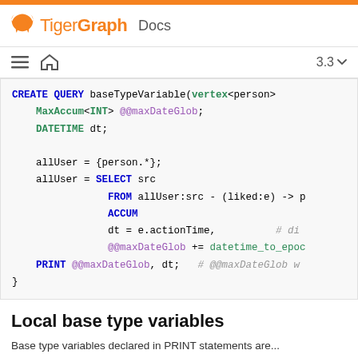TigerGraph Docs
[Figure (screenshot): Navigation bar with list icon, home icon, and version selector showing 3.3]
CREATE QUERY baseTypeVariable(vertex<person>
    MaxAccum<INT> @@maxDateGlob;
    DATETIME dt;

    allUser = {person.*};
    allUser = SELECT src
                   FROM allUser:src - (liked:e) -> p
                   ACCUM
                   dt = e.actionTime,         # di
                   @@maxDateGlob += datetime_to_epoc
    PRINT @@maxDateGlob, dt;   # @@maxDateGlob w
}
Local base type variables
Base type variables declared in PRINT statements are...